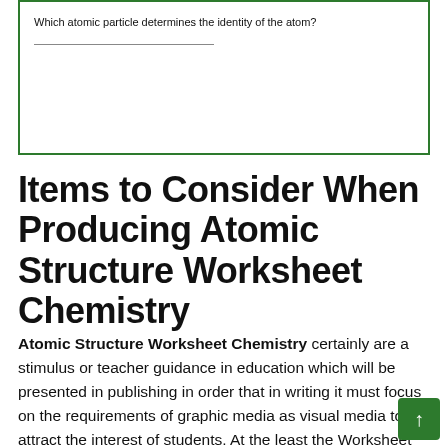Which atomic particle determines the identity of the atom?
Items to Consider When Producing Atomic Structure Worksheet Chemistry
Atomic Structure Worksheet Chemistry certainly are a stimulus or teacher guidance in education which will be presented in publishing in order that in writing it must focus on the requirements of graphic media as visual media to attract the interest of students. At the least the Worksheet as a press card. While the contents of the concept of the Worksheet must look closely at the elements of writing graphic media, the hierarchy of the product and the selection of questions being an efficient